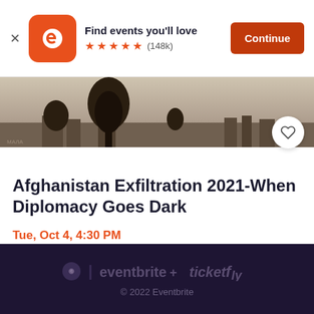[Figure (screenshot): Eventbrite app banner with orange logo, 'Find events you'll love', five orange stars, (148k) reviews, and a Continue button]
[Figure (photo): Sepia-toned historical landscape photo with tree silhouettes and buildings in the distance]
Afghanistan Exfiltration 2021-When Diplomacy Goes Dark
Tue, Oct 4, 4:30 PM
The Institute of World Politics • Washington, DC
Free
eventbrite + ticketfly
© 2022 Eventbrite